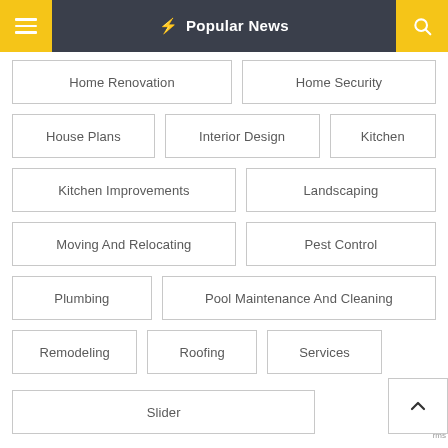⚡ Popular News
Home Renovation
Home Security
House Plans
Interior Design
Kitchen
Kitchen Improvements
Landscaping
Moving And Relocating
Pest Control
Plumbing
Pool Maintenance And Cleaning
Remodeling
Roofing
Services
Slider